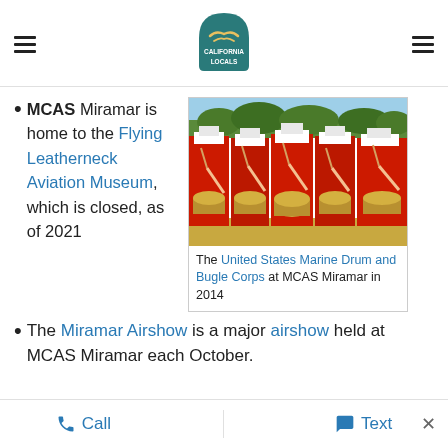California Locals (logo, hamburger menus)
MCAS Miramar is home to the Flying Leatherneck Aviation Museum, which is closed, as of 2021
[Figure (photo): The United States Marine Drum and Bugle Corps at MCAS Miramar in 2014 — marching band in red uniforms with white hats playing drums]
The United States Marine Drum and Bugle Corps at MCAS Miramar in 2014
The Miramar Airshow is a major airshow held at MCAS Miramar each October.
Call   Text   ×